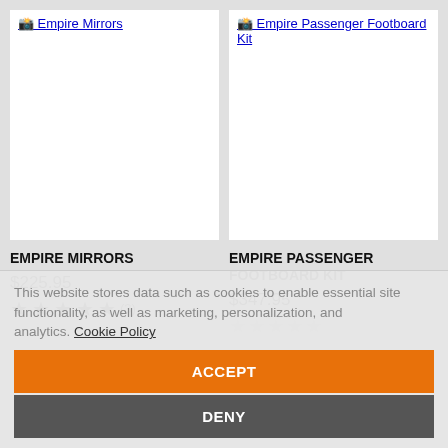[Figure (screenshot): Product image placeholder for Empire Mirrors with linked title]
[Figure (screenshot): Product image placeholder for Empire Passenger Footboard Kit with linked title]
EMPIRE MIRRORS
$225.95
★★★★★ (3)
EMPIRE PASSENGER FOOTBOARD KIT
$347.95
This website stores data such as cookies to enable essential site functionality, as well as marketing, personalization, and analytics. Cookie Policy
ACCEPT
DENY